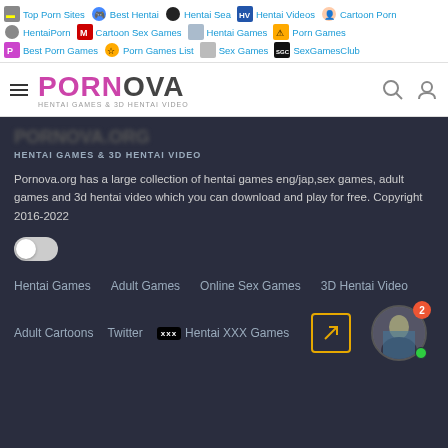Top Porn Sites | Best Hentai | Hentai Sea | Hentai Videos | Cartoon Porn | HentaiPorn | Cartoon Sex Games | Hentai Games | Porn Games | Best Porn Games | Porn Games List | Sex Games | SexGamesClub
[Figure (screenshot): PORNOVA website navigation bar with hamburger menu, logo, search and user icons]
HENTAI GAMES & 3D HENTAI VIDEO
Pornova.org has a large collection of hentai games eng/jap,sex games, adult games and 3d hentai video which you can download and play for free. Copyright 2016-2022
[Figure (other): Toggle switch in off position]
Hentai Games   Adult Games   Online Sex Games   3D Hentai Video
Adult Cartoons   Twitter   Hentai XXX Games